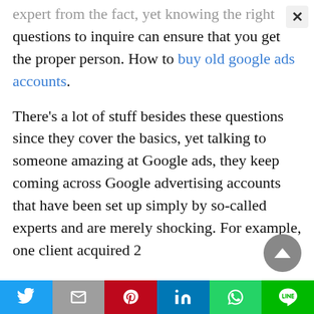expert from the fact, yet knowing the right questions to inquire can ensure that you get the proper person. How to buy old google ads accounts.
There's a lot of stuff besides these questions since they cover the basics, yet talking to someone amazing at Google ads, they keep coming across Google advertising accounts that have been set up simply by so-called experts and are merely shocking. For example, one client acquired 2 different…